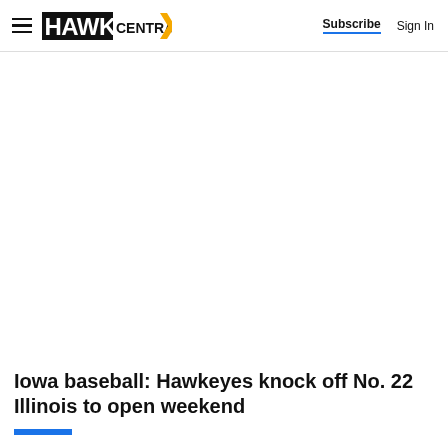HAWK CENTRAL — Subscribe  Sign In
[Figure (other): Large blank advertisement or image placeholder area]
Iowa baseball: Hawkeyes knock off No. 22 Illinois to open weekend